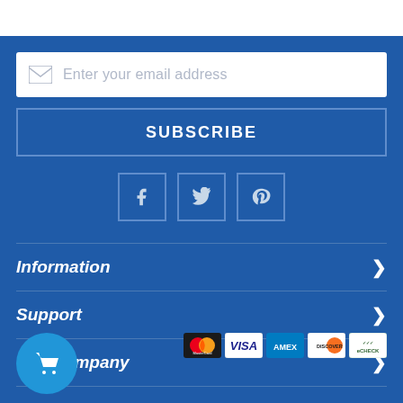[Figure (screenshot): Email subscription input field with envelope icon and placeholder text 'Enter your email address']
SUBSCRIBE
[Figure (infographic): Social media icons: Facebook (f), Twitter (bird), Pinterest (p) in square bordered boxes]
Information
Support
The Company
[Figure (logo): Payment logos: MasterCard, VISA, AMEX, Discover, eCheck, BBB, Community Program, VeriSign Secure Site, PayPal]